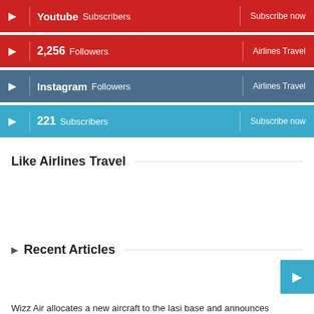Youtube Subscribers | Subscribe now
2,256 Followers | Airlines Travel
Instagram Followers | Airlines Travel
221 Subscribers | Subscribe now
Like Airlines Travel
Recent Articles
Wizz Air allocates a new aircraft to the Iasi base and announces